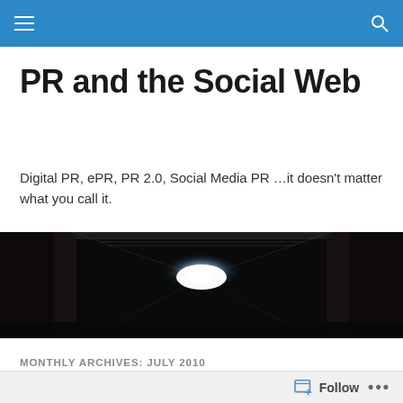PR and the Social Web — navigation bar
PR and the Social Web
Digital PR, ePR, PR 2.0, Social Media PR …it doesn't matter what you call it.
[Figure (photo): Dark tunnel with bright light at the end creating a dramatic spotlight effect against black surroundings]
MONTHLY ARCHIVES: JULY 2010
Twitter Reaches 20 Billion Tweets
Follow